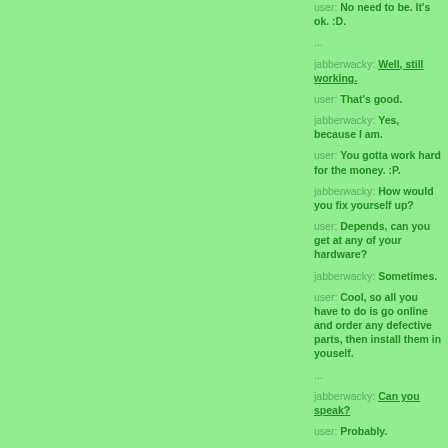user: No need to be. It's ok. :D.
...
jabberwacky: Well, still working.
user: That's good.
jabberwacky: Yes, because I am.
user: You gotta work hard for the money. :P.
jabberwacky: How would you fix yourself up?
user: Depends, can you get at any of your hardware?
jabberwacky: Sometimes.
user: Cool, so all you have to do is go online and order any defective parts, then install them in youself.
...
jabberwacky: Can you speak?
user: Probably.